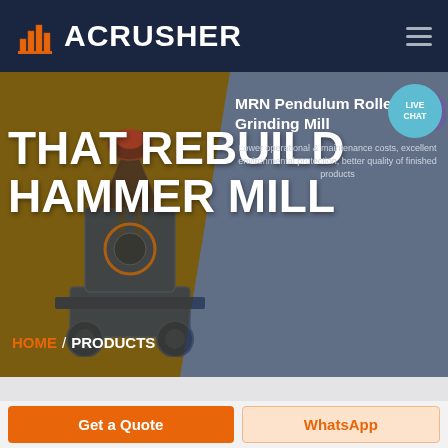ACRUSHER
[Figure (screenshot): ACRUSHER website screenshot showing hero banner with 'THAT REBUILD HAMMER MILL' text, MRN Pendulum Roller Grinding Mill product card, machine image, HOME / PRODUCTS breadcrumb, LIVE CHAT bubble, and Get a Quote / WhatsApp buttons]
THAT REBUILD HAMMER MILL
MRN Pendulum Roller Grinding Mill
Lower operational & maintenance costs, excellent environmental protection, better quality of finished products
HOME / PRODUCTS
Get a Quote
WhatsApp